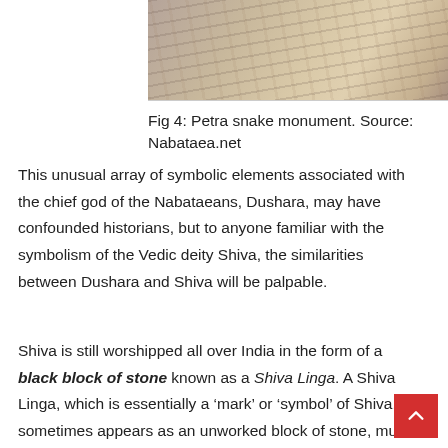[Figure (photo): Photo of Petra snake monument carved in stone, showing textured rock surface]
Fig 4: Petra snake monument. Source: Nabataea.net
This unusual array of symbolic elements associated with the chief god of the Nabataeans, Dushara, may have confounded historians, but to anyone familiar with the symbolism of the Vedic deity Shiva, the similarities between Dushara and Shiva will be palpable.
Shiva is still worshipped all over India in the form of a black block of stone known as a Shiva Linga. A Shiva Linga, which is essentially a ‘mark’ or ‘symbol’ of Shiva, sometimes appears as an unworked block of stone, much like the idol of Dushara in the temple of Al Deir; but typically it is represented by a smooth, rounded stone which resembles some of the rounded ,dome-shaped, baetyls that we find in Petra.